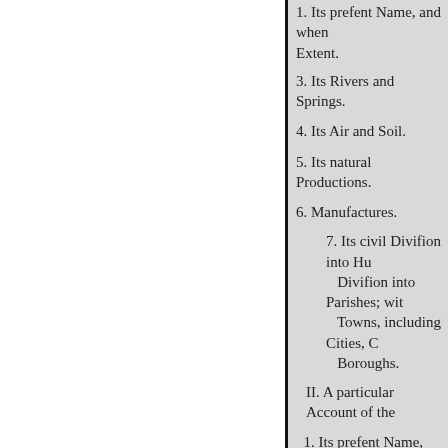1. Its prefent Name, and when Extent.
3. Its Rivers and Springs.
4. Its Air and Soil.
5. Its natural Productions.
6. Manufactures.
7. Its civil Divifion into Hu Divifion into Parishes; wit Towns, including Cities, C Boroughs.
II. A particular Account of the
1. Its prefent Name, and when
2. Its Distance from London.
3. How it is governed.
4. A Defcription of the Streets, M
5. Products and Manufactures.